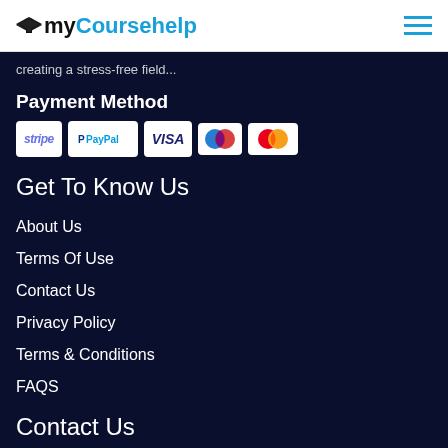myCoursehelp
creating a stress-free field...
Payment Method
[Figure (other): Payment method icons: Stripe, PayPal, VISA, Maestro, Mastercard]
Get To Know Us
About Us
Terms Of Use
Contact Us
Privacy Policy
Terms & Conditions
FAQS
Contact Us
1612 W, Berteau Avenue, Chicago IL, 60613 (USA)